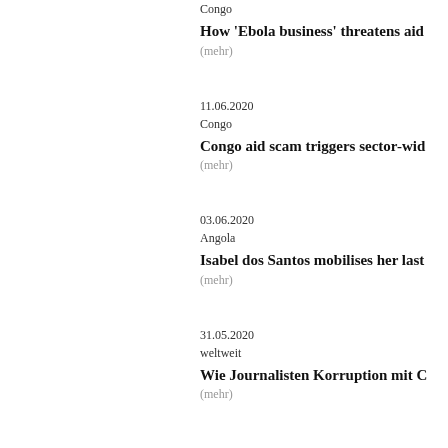Congo
How ‘Ebola business’ threatens aid
(mehr)
11.06.2020
Congo
Congo aid scam triggers sector-wid
(mehr)
03.06.2020
Angola
Isabel dos Santos mobilises her last
(mehr)
31.05.2020
weltweit
Wie Journalisten Korruption mit C
(mehr)